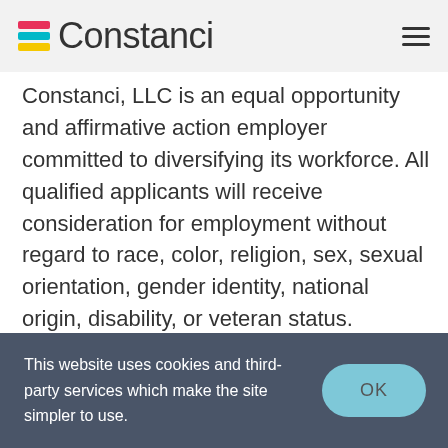Constanci
Constanci, LLC is an equal opportunity and affirmative action employer committed to diversifying its workforce. All qualified applicants will receive consideration for employment without regard to race, color, religion, sex, sexual orientation, gender identity, national origin, disability, or veteran status.
This website uses cookies and third-party services which make the site simpler to use.